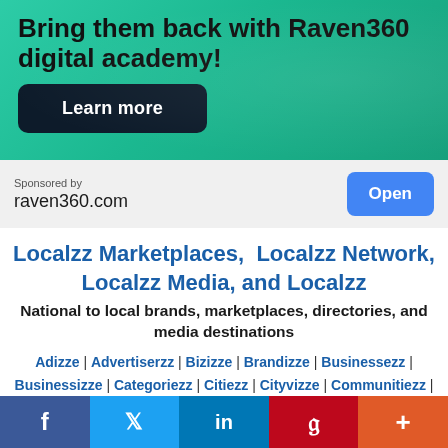[Figure (infographic): Green gradient advertisement banner for Raven360 digital academy with headline text and Learn more button]
Bring them back with Raven360 digital academy!
Learn more
Sponsored by
raven360.com
Open
Localzz Marketplaces,  Localzz Network, Localzz Media, and Localzz
National to local brands, marketplaces, directories, and media destinations
Adizze | Advertiserzz | Bizizze | Brandizze | Businessezz | Businessizze | Categoriezz | Citiezz | Cityvizze | Communitiezz |